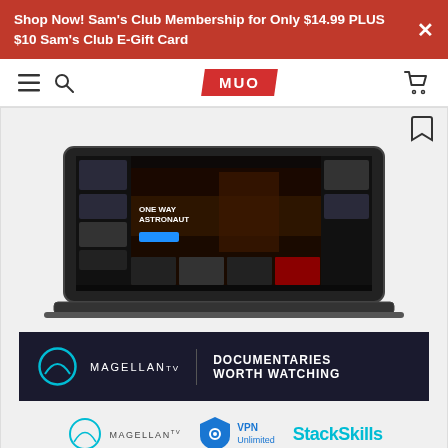Shop Now! Sam's Club Membership for Only $14.99 PLUS $10 Sam's Club E-Gift Card
[Figure (screenshot): MUO website navigation bar with hamburger menu, search icon, MUO logo (red parallelogram shape), and cart icon]
[Figure (screenshot): MagellantTV streaming service on a laptop screen showing 'One Way Astronaut' documentary with MAGELLAN TV | DOCUMENTARIES WORTH WATCHING branding. Below the laptop are three partner logos: Magellan TV, VPN Unlimited, and StackSkills]
Online Courses